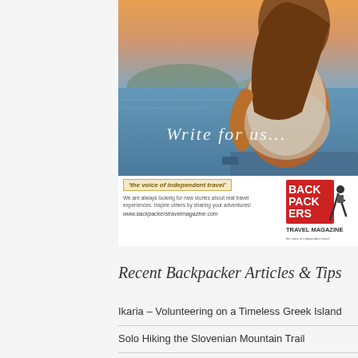[Figure (photo): Advertisement banner for Backpackers Travel Magazine: A woman sitting on a boat on the ocean at sunset, with text 'Write for us...' overlaid on the photo. Below the photo: tagline 'the voice of independent travel', body text about looking for new stories, and URL www.backpackerstravelmagazine.com. Backpackers Travel Magazine logo on the right.]
Recent Backpacker Articles & Tips
Ikaria – Volunteering on a Timeless Greek Island
Solo Hiking the Slovenian Mountain Trail
8 Reasons Why You Should Go On A Caravan Holiday